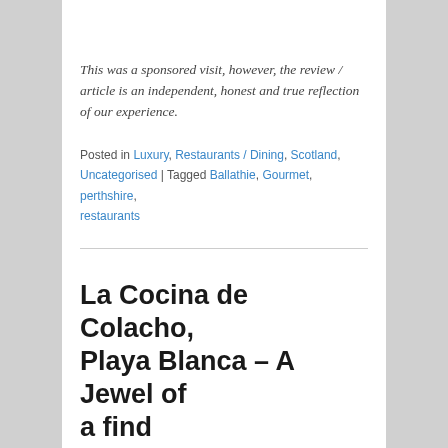This was a sponsored visit, however, the review / article is an independent, honest and true reflection of our experience.
Posted in Luxury, Restaurants / Dining, Scotland, Uncategorised | Tagged Ballathie, Gourmet, perthshire, restaurants
La Cocina de Colacho, Playa Blanca – A Jewel of a find
Posted on 18th October 2015
We've been visiting Playa Blanca in Lanzarote for many years and what a mistake we've been making!
We simply can't believe how many times we've driven